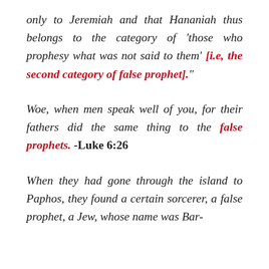only to Jeremiah and that Hananiah thus belongs to the category of 'those who prophesy what was not said to them' [i.e, the second category of false prophet]."
Woe, when men speak well of you, for their fathers did the same thing to the false prophets. -Luke 6:26
When they had gone through the island to Paphos, they found a certain sorcerer, a false prophet, a Jew, whose name was Bar-